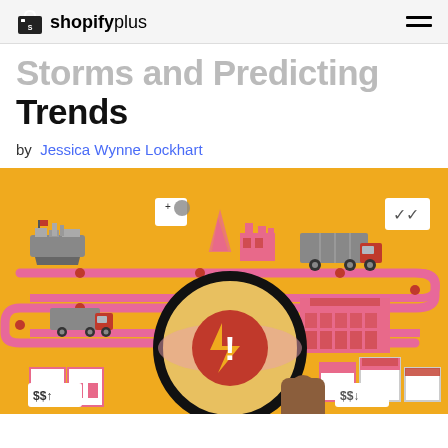shopifyplus
Storms and Predicting Trends
by Jessica Wynne Lockhart
[Figure (illustration): Supply chain infographic showing a pink winding path connecting supply chain icons including a cargo ship, factory, trucks, warehouse, stores, and homes on a golden/yellow background. A large magnifying glass held by a hand in the center reveals a disruption warning symbol (exclamation mark with lightning bolt). Price tags at bottom show '$$ up arrow' on left and '$$ down arrow' on right, with a double checkmark in top right.]